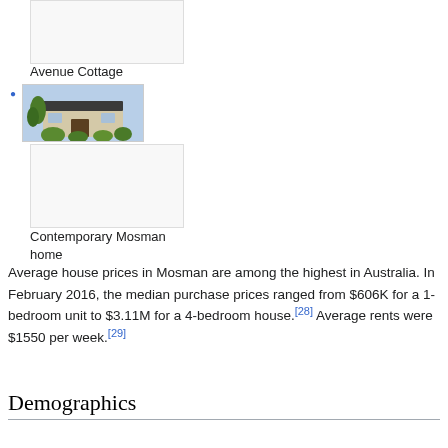[Figure (photo): Top portion of image block cut off at top of page — Avenue Cottage photo placeholder]
Avenue Cottage
Contemporary Mosman home photo with bullet point
[Figure (photo): Photo of a contemporary Mosman home with modern architecture, trees and garden in foreground]
Contemporary Mosman home
Average house prices in Mosman are among the highest in Australia. In February 2016, the median purchase prices ranged from $606K for a 1-bedroom unit to $3.11M for a 4-bedroom house.[28] Average rents were $1550 per week.[29]
Demographics